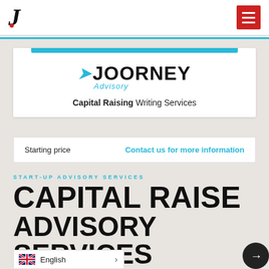Joorney Advisory — navigation bar with logo and hamburger menu
[Figure (logo): JOORNEY Advisory logo — bold black uppercase JOORNEY with blue italic j mark and blue Advisory text below]
Capital Raising Writing Services
Starting price   Contact us for more information
START-UP ADVISORY SERVICES
CAPITAL RAISE ADVISORY SERVICES
When seeking to raise equity capital, se... re